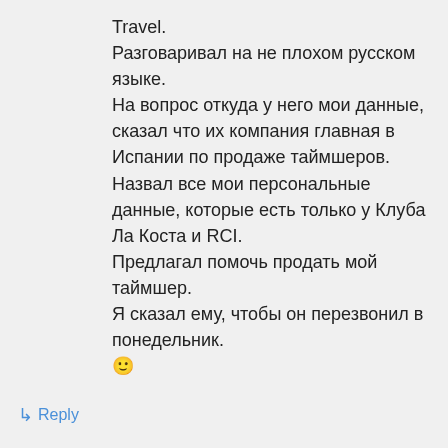Travel.
Разговаривал на не плохом русском языке.
На вопрос откуда у него мои данные, сказал что их компания главная в Испании по продаже таймшеров.
Назвал все мои персональные данные, которые есть только у Клуба Ла Коста и RCI.
Предлагал помочь продать мой таймшер.
Я сказал ему, чтобы он перезвонил в понедельник.
🙂
↳ Reply